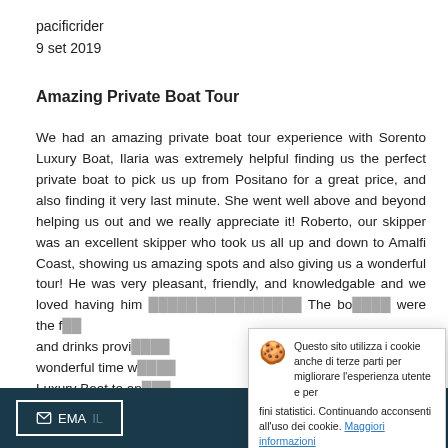pacificrider
9 set 2019
Amazing Private Boat Tour
We had an amazing private boat tour experience with Sorento Luxury Boat, Ilaria was extremely helpful finding us the perfect private boat to pick us up from Positano for a great price, and also finding it very last minute. She went well above and beyond helping us out and we really appreciate it! Roberto, our skipper was an excellent skipper who took us all up and down to Amalfi Coast, showing us amazing spots and also giving us a wonderful tour! He was very pleasant, friendly, and knowledgable and we loved having him [partially obscured] and drinks provi[d] wonderful time w[ith] Luxury Boat to an[y] Thanks for the wo[nderful] be using you aga[in]
Questo sito utilizza i cookie anche di terze parti per migliorare l'esperienza utente e per fini statistici. Continuando acconsenti all'uso dei cookie. Maggiori informazioni
OK
EMAIL